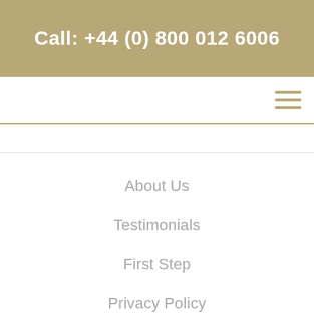Call: +44 (0) 800 012 6006
About Us
Testimonials
First Step
Privacy Policy
Contact